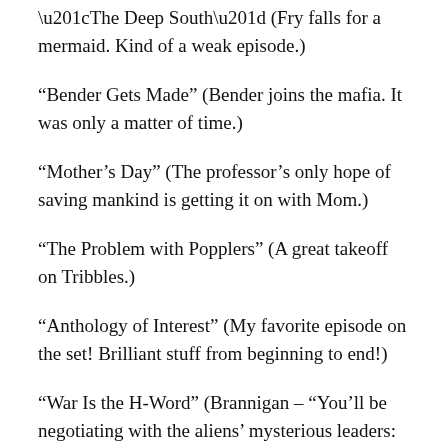“The Deep South” (Fry falls for a mermaid. Kind of a weak episode.)
“Bender Gets Made” (Bender joins the mafia. It was only a matter of time.)
“Mother’s Day” (The professor’s only hope of saving mankind is getting it on with Mom.)
“The Problem with Popplers” (A great takeoff on Tribbles.)
“Anthology of Interest” (My favorite episode on the set! Brilliant stuff from beginning to end!)
“War Is the H-Word” (Brannigan – “You’ll be negotiating with the aliens’ mysterious leaders: